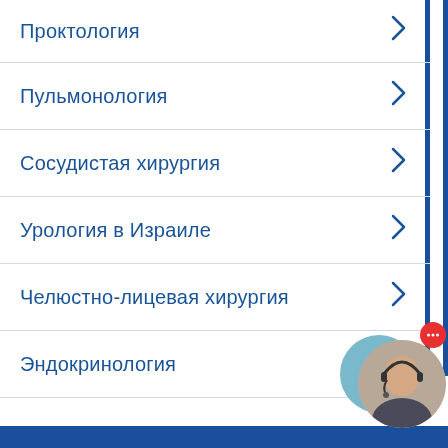Проктология
Пульмонология
Сосудистая хирургия
Урология в Израиле
Челюстно-лицевая хирургия
Эндокринология
[Figure (illustration): Phone call button - circular teal button with white phone handset icon]
[Figure (photo): Chat support avatar - circular photo of a woman with headset, with red notification dot]